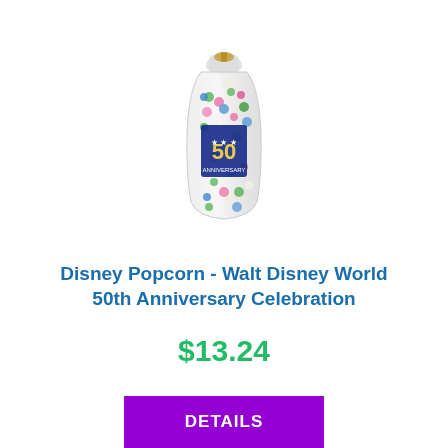[Figure (photo): A clear cellophane bag of colorful Disney popcorn tied with a gold ribbon at the top, featuring a Disney 50th Anniversary label with Mickey Mouse design on the front. The popcorn pieces appear multicolored (green, pink, blue, white).]
Disney Popcorn - Walt Disney World 50th Anniversary Celebration
$13.24
DETAILS